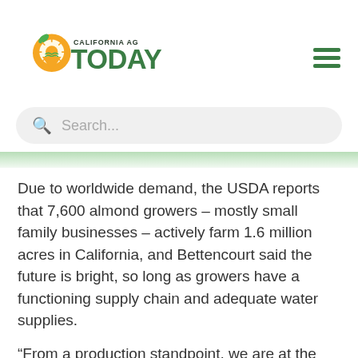[Figure (logo): California AG Today logo with orange location pin icon, green leaf, and sun, with bold green text 'TODAY' and dark 'CALIFORNIA AG' above]
Due to worldwide demand, the USDA reports that 7,600 almond growers – mostly small family businesses – actively farm 1.6 million acres in California, and Bettencourt said the future is bright, so long as growers have a functioning supply chain and adequate water supplies.
“From a production standpoint, we are at the beginning of our prime,” she said. “Looking at acreage and production, California almonds are just at the beginning of where we could be, and the